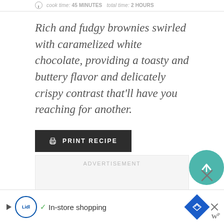cook time: 45 MINUTES  total time: 2 HOURS
Rich and fudgy brownies swirled with caramelized white chocolate, providing a toasty and buttery flavor and delicately crispy contrast that'll have you reaching for another.
PRINT RECIPE
[Figure (other): Advertisement placeholder box with 'ADVERTISEMENT' label]
[Figure (other): Bottom banner ad with Lidl logo, checkmark, 'In-store shopping' text, and navigation/route icon. Scroll-up button and close (X) button overlay on the right side.]